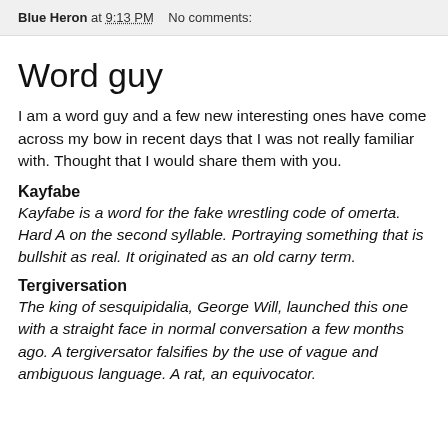Blue Heron at 9:13 PM   No comments:
Word guy
I am a word guy and a few new interesting ones have come across my bow in recent days that I was not really familiar with. Thought that I would share them with you.
Kayfabe
Kayfabe is a word for the fake wrestling code of omerta. Hard A on the second syllable. Portraying something that is bullshit as real. It originated as an old carny term.
Tergiversation
The king of sesquipidalia, George Will, launched this one with a straight face in normal conversation a few months ago. A tergiversator falsifies by the use of vague and ambiguous language. A rat, an equivocator.